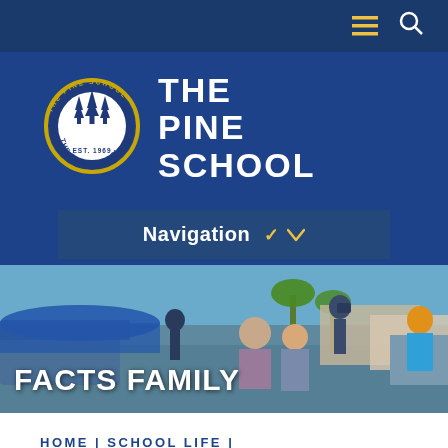Navigation menu and search icons
[Figure (logo): The Pine School circular seal logo with pine trees, EST 1969]
THE PINE SCHOOL
Navigation
[Figure (photo): Students on a boat at a marina with palm trees and blue sky, outdoor school activity]
FACTS FAMILY
HOME | SCHOOL LIFE |